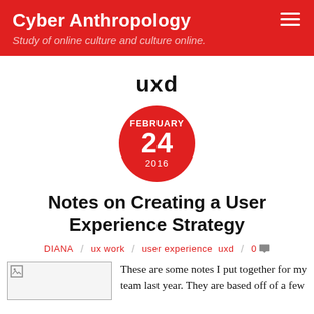Cyber Anthropology
Study of online culture and culture online.
uxd
[Figure (other): Red circle date badge showing FEBRUARY 24 2016]
Notes on Creating a User Experience Strategy
DIANA / ux work / user experience uxd / 0
[Figure (photo): Broken image placeholder thumbnail]
These are some notes I put together for my team last year. They are based off of a few